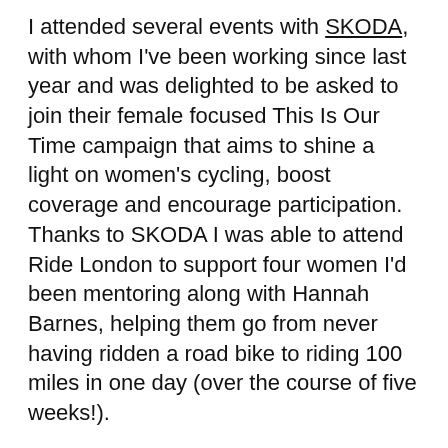I attended several events with SKODA, with whom I've been working since last year and was delighted to be asked to join their female focused This Is Our Time campaign that aims to shine a light on women's cycling, boost coverage and encourage participation. Thanks to SKODA I was able to attend Ride London to support four women I'd been mentoring along with Hannah Barnes, helping them go from never having ridden a road bike to riding 100 miles in one day (over the course of five weeks!).
I also flew out to the Tour de France, went to the Ovo Energy Women's to chat to women mechanics, Directeur Sportifs, soigneur and pro cyclists and went to the final stage of the Tour of Britain where my family and I were able to ride the course before settling into the VIP hospitality area to cheer on our favourite racers. And if that wasn't sweet enough, they also saw fit to lend me a brand new Kodiaq SUV!
Back in Devon, I entered my first road races snagging a